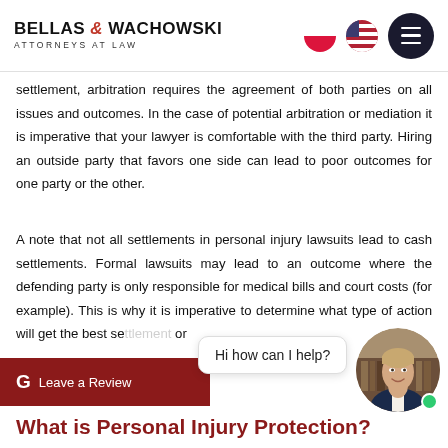BELLAS & WACHOWSKI ATTORNEYS AT LAW
settlement, arbitration requires the agreement of both parties on all issues and outcomes. In the case of potential arbitration or mediation it is imperative that your lawyer is comfortable with the third party. Hiring an outside party that favors one side can lead to poor outcomes for one party or the other.
A note that not all settlements in personal injury lawsuits lead to cash settlements. Formal lawsuits may lead to an outcome where the defending party is only responsible for medical bills and court costs (for example). This is why it is imperative to determine what type of action will get the best se[ttlement] or [type of action for individual]...
[Figure (other): Google Leave a Review red button bar]
Hi how can I help?
[Figure (photo): Avatar photo of a man in a suit, smiling, with law books in background. Green online indicator dot.]
What is Personal Injury Protection?